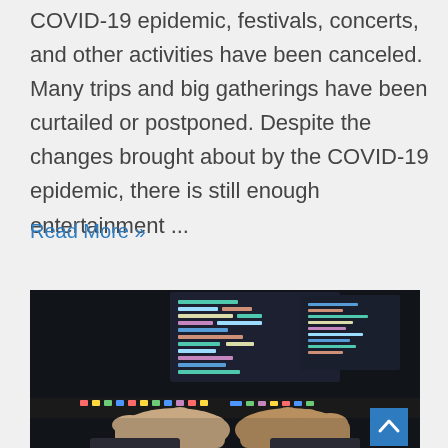COVID-19 epidemic, festivals, concerts, and other activities have been canceled. Many trips and big gatherings have been curtailed or postponed. Despite the changes brought about by the COVID-19 epidemic, there is still enough entertainment ...
Read More »
[Figure (photo): A person typing on a laptop keyboard in a dark environment, with code visible on screens in the background. A blue scroll-to-top button with an upward chevron is visible in the bottom-right corner of the image.]